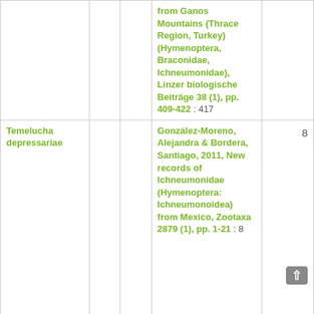| Taxon |  |  | Reference |  |
| --- | --- | --- | --- | --- |
|  |  |  | from Ganos Mountains (Thrace Region, Turkey) (Hymenoptera, Braconidae, Ichneumonidae), Linzer biologische Beiträge 38 (1), pp. 409-422 : 417 |  |
| Temelucha depressariae |  |  | González-Moreno, Alejandra & Bordera, Santiago, 2011, New records of Ichneumonidae (Hymenoptera: Ichneumonoidea) from Mexico, Zootaxa 2879 (1), pp. 1-21 : 8 | 8 |